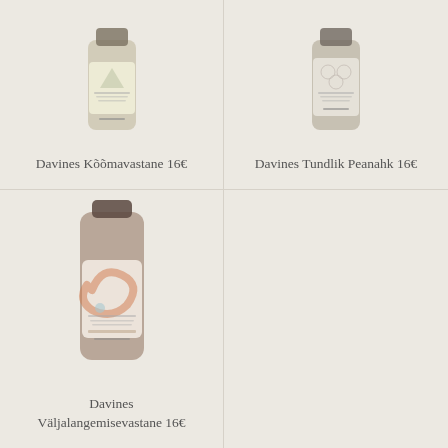[Figure (photo): Davines shampoo bottle with yellow/cream label - anti-dandruff product]
Davines Kõõmavastane 16€
[Figure (photo): Davines shampoo bottle with grey/white decorative label - sensitive scalp product]
Davines Tundlik Peanahk 16€
[Figure (photo): Davines shampoo bottle with orange/brown swirl label - anti-hairloss product]
Davines Väljalangemisevastane 16€